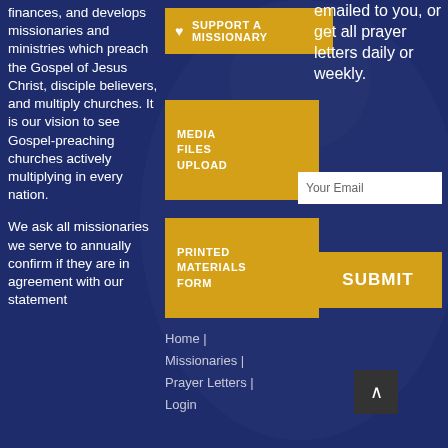finances, and develops missionaries and ministries which preach the Gospel of Jesus Christ, disciple believers, and multiply churches. It is our vision to see Gospel-preaching churches actively multiplying in every nation.
We ask all missionaries we serve to annually confirm if they are in agreement with our statement
[Figure (other): Gold button with heart icon: SUPPORT A MISSIONARY]
[Figure (other): Gold button: MEDIA FILES UPLOAD]
[Figure (other): Gold button: PRINTED MATERIALS FORM]
Home |
Missionaries |
Prayer Letters |
Login
emailed to you, or get all prayer letters daily or weekly.
Your Email
[Figure (other): Gold SUBMIT button]
[Figure (other): Dark scroll-to-top button with up arrow]